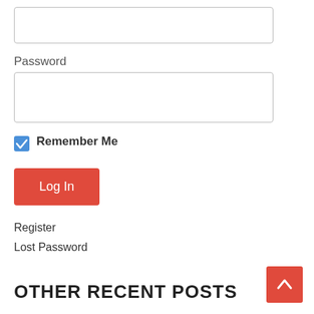[Figure (screenshot): Empty text input box for a form field (top of page)]
Password
[Figure (screenshot): Empty password input box]
Remember Me
[Figure (screenshot): Log In button (red)]
Register
Lost Password
OTHER RECENT POSTS